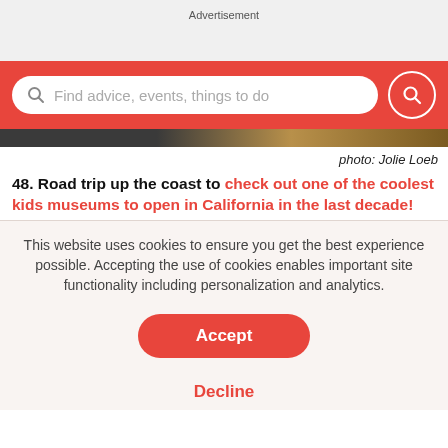Advertisement
[Figure (screenshot): Red search bar with placeholder text 'Find advice, events, things to do' and a red circle search button on the right]
photo: Jolie Loeb
48. Road trip up the coast to check out one of the coolest kids museums to open in California in the last decade!
This website uses cookies to ensure you get the best experience possible. Accepting the use of cookies enables important site functionality including personalization and analytics.
Accept
Decline